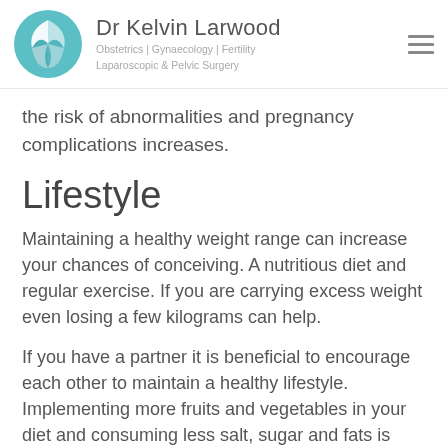Dr Kelvin Larwood – Obstetrics | Gynaecology | Fertility Laparoscopic & Pelvic Surgery
the risk of abnormalities and pregnancy complications increases.
Lifestyle
Maintaining a healthy weight range can increase your chances of conceiving. A nutritious diet and regular exercise. If you are carrying excess weight even losing a few kilograms can help.
If you have a partner it is beneficial to encourage each other to maintain a healthy lifestyle. Implementing more fruits and vegetables in your diet and consuming less salt, sugar and fats is